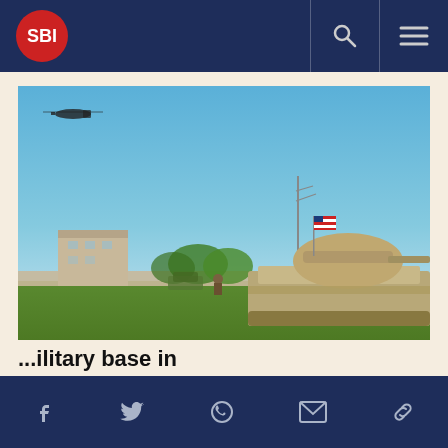SBI
[Figure (photo): A military combat vehicle (Bradley Fighting Vehicle) with an American flag on it, parked on a grass field near a building. A helicopter is visible in the blue sky in the background.]
...ilitary base in
Social share icons: Facebook, Twitter, WhatsApp, Email, Link